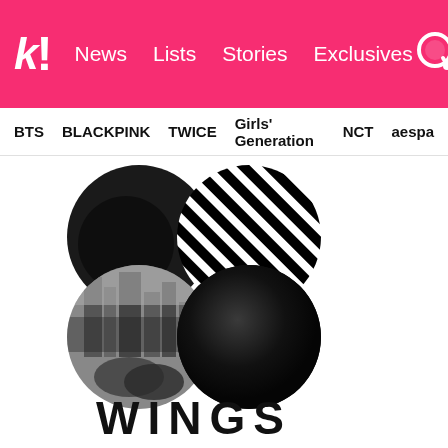koreaboo — News  Lists  Stories  Exclusives
BTS  BLACKPINK  TWICE  Girls' Generation  NCT  aespa
[Figure (logo): BTS WINGS album cover: four circles arranged in a clover/butterfly pattern — top-left solid black circle, top-right black and white diagonal stripes circle, bottom-left grayscale urban photo circle, bottom-right solid black sphere — with the word WINGS in bold black letters below]